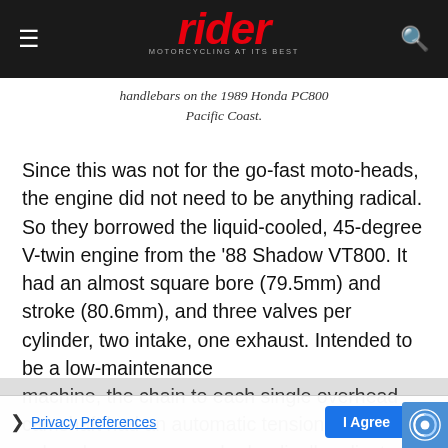rider MOTORCYCLING AT ITS BEST
handlebars on the 1989 Honda PC800 Pacific Coast.
Since this was not for the go-fast moto-heads, the engine did not need to be anything radical. So they borrowed the liquid-cooled, 45-degree V-twin engine from the '88 Shadow VT800. It had an almost square bore (79.5mm) and stroke (80.6mm), and three valves per cylinder, two intake, one exhaust. Intended to be a low-maintenance machine, the chain to each single overhead camshaft had an automatic tensioner, and the valve clearances were hydraulically adjusted. A pair 36mm carbs fed fuel [combustion cha]... with a modest 9:1 compression ratio
Privacy Preferences | I Agree